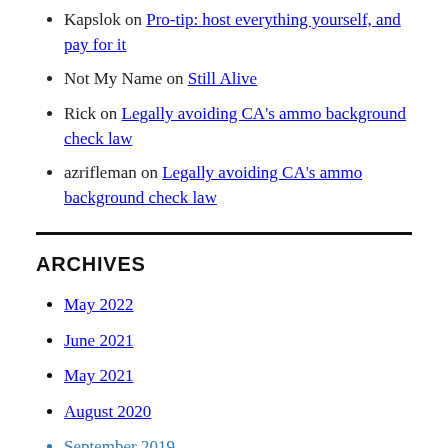Kapslok on Pro-tip: host everything yourself, and pay for it
Not My Name on Still Alive
Rick on Legally avoiding CA's ammo background check law
azrifleman on Legally avoiding CA's ammo background check law
ARCHIVES
May 2022
June 2021
May 2021
August 2020
September 2019